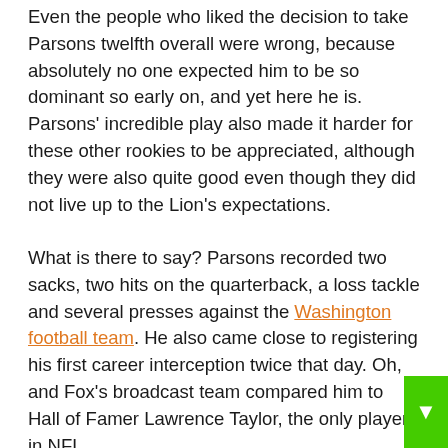Even the people who liked the decision to take Parsons twelfth overall were wrong, because absolutely no one expected him to be so dominant so early on, and yet here he is. Parsons' incredible play also made it harder for these other rookies to be appreciated, although they were also quite good even though they did not live up to the Lion's expectations.
What is there to say? Parsons recorded two sacks, two hits on the quarterback, a loss tackle and several presses against the Washington football team. He also came close to registering his first career interception twice that day. Oh, and Fox's broadcast team compared him to Hall of Famer Lawrence Taylor, the only player in NFL